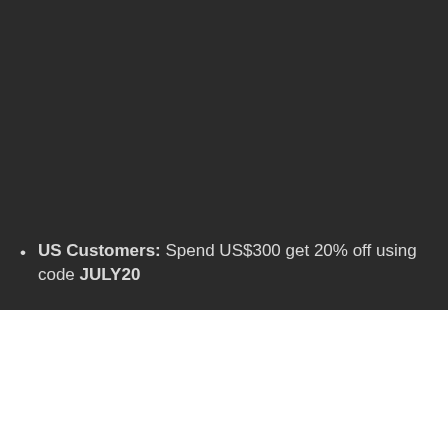US Customers: Spend US$300 get 20% off using code JULY20